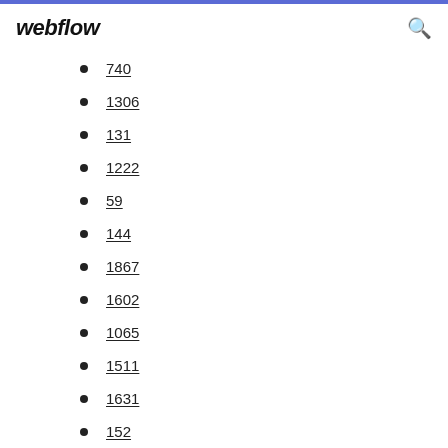webflow
740
1306
131
1222
59
144
1867
1602
1065
1511
1631
152
1045